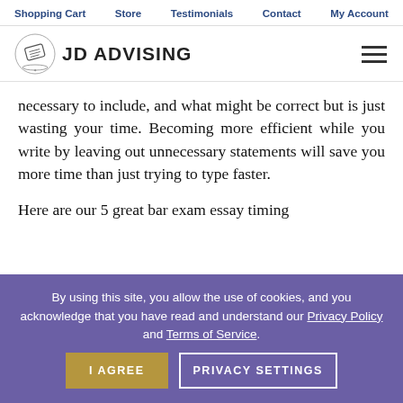Shopping Cart  Store  Testimonials  Contact  My Account
[Figure (logo): JD Advising logo with diploma/scroll icon and text 'JD ADVISING']
necessary to include, and what might be correct but is just wasting your time.  Becoming more efficient while you write by leaving out unnecessary statements will save you more time than just trying to type faster.
Here are our 5 great bar exam essay timing
By using this site, you allow the use of cookies, and you acknowledge that you have read and understand our Privacy Policy and Terms of Service.
I AGREE   PRIVACY SETTINGS